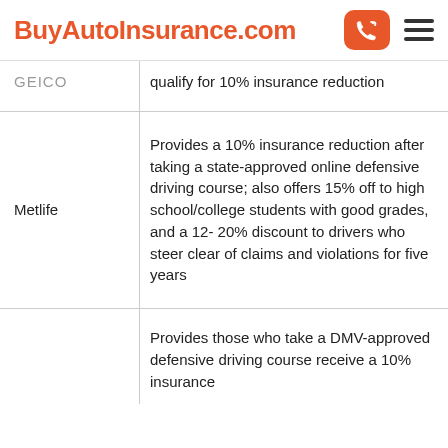BuyAutoInsurance.com
| Provider | Description |
| --- | --- |
| [GEICO] | qualify for 10% insurance reduction |
| Metlife | Provides a 10% insurance reduction after taking a state-approved online defensive driving course; also offers 15% off to high school/college students with good grades, and a 12- 20% discount to drivers who steer clear of claims and violations for five years |
|  | Provides those who take a DMV-approved defensive driving course receive a 10% insurance discount (text truncated) |